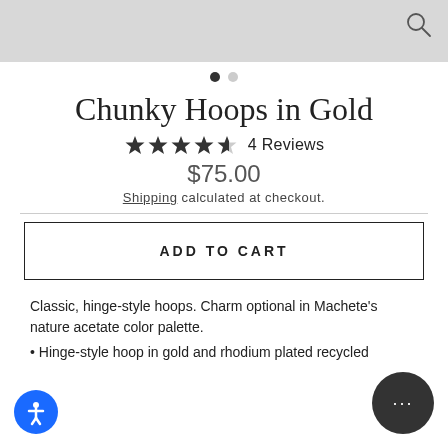[Figure (photo): Top portion of a product image (grey/light background), partially cropped, with a search icon in top right corner]
[Figure (other): Two navigation dots: one filled black (active), one grey]
Chunky Hoops in Gold
★★★★☆ 4 Reviews
$75.00
Shipping calculated at checkout.
ADD TO CART
Classic, hinge-style hoops. Charm optional in Machete's nature acetate color palette.
Hinge-style hoop in gold and rhodium plated recycled